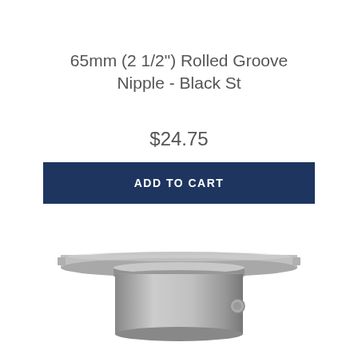65mm (2 1/2") Rolled Groove Nipple - Black St
$24.75
ADD TO CART
[Figure (photo): A metallic rolled groove nipple fitting, cylindrical shape with a wide flat flange on top, silver/grey steel finish, showing a small circular mark on the side body.]